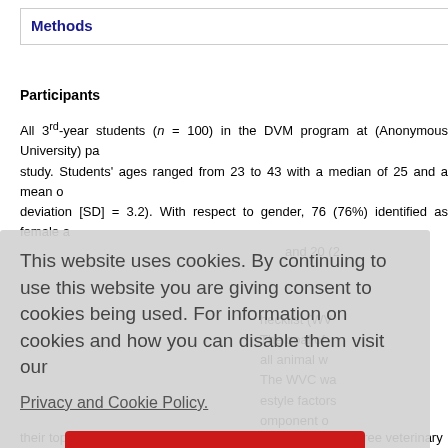Methods
Participants
All 3rd-year students (n = 100) in the DVM program at (Anonymous University) participated in this study. Students' ages ranged from 23 to 43 with a median of 25 and a mean of [standard deviation [SD] = 3.2). With respect to gender, 76 (76%) identified as female and 20 (2[...] ...necklist (WV... The goal of ... all animal w... The WVC wa... estyle factors... omponent o... modified-WV...
This website uses cookies. By continuing to use this website you are giving consent to cookies being used. For information on cookies and how you can disable them visit our Privacy and Cookie Policy. AGREE & PROCEED
their top five workplaces. Next, they were required to visit three veterinary...